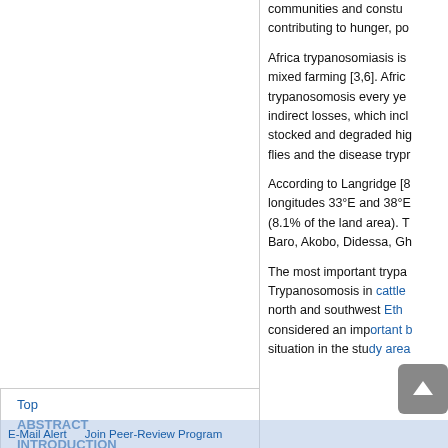communities and constu... contributing to hunger, po...
Africa trypanosomiasis is ... mixed farming [3,6]. Afric... trypanosomosis every ye... indirect losses, which incl... stocked and degraded hig... flies and the disease trypr...
According to Langridge [8... longitudes 33°E and 38°E... (8.1% of the land area). T... Baro, Akobo, Didessa, Gh...
The most important trypa... Trypanosomosis in cattle ... north and southwest Eth... considered an important b... situation in the study area...
Top
ABSTRACT
INTRODUCTION
MATERIAL AND METHODS
RESULTS AND DISCUSSION
ACKNOWLEDGEMENTS
REFERENCES
E-Mail Alert    Join Peer-Review Program